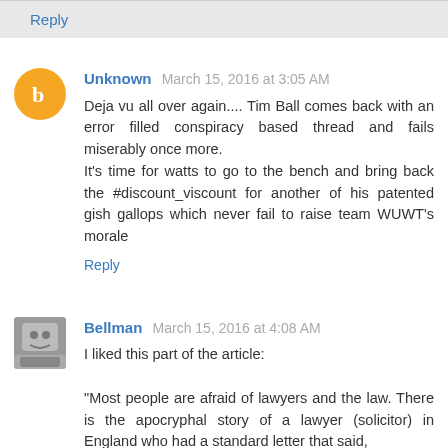Reply
Unknown  March 15, 2016 at 3:05 AM
Deja vu all over again.... Tim Ball comes back with an error filled conspiracy based thread and fails miserably once more.
It's time for watts to go to the bench and bring back the #discount_viscount for another of his patented gish gallops which never fail to raise team WUWT's morale
Reply
Bellman  March 15, 2016 at 4:08 AM
I liked this part of the article:

"Most people are afraid of lawyers and the law. There is the apocryphal story of a lawyer (solicitor) in England who had a standard letter that said,